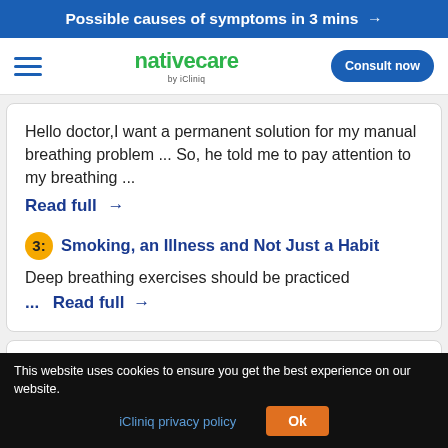Possible causes of symptoms in 3 mins →
[Figure (logo): nativecare by iCliniq logo with hamburger menu and Consult now button]
Hello doctor,I want a permanent solution for my manual breathing problem ... So, he told me to pay attention to my breathing ...
Read full →
3: Smoking, an Illness and Not Just a Habit — Deep breathing exercises should be practiced ... Read full →
Also Read Answers From:
This website uses cookies to ensure you get the best experience on our website.
iCliniq privacy policy  Ok